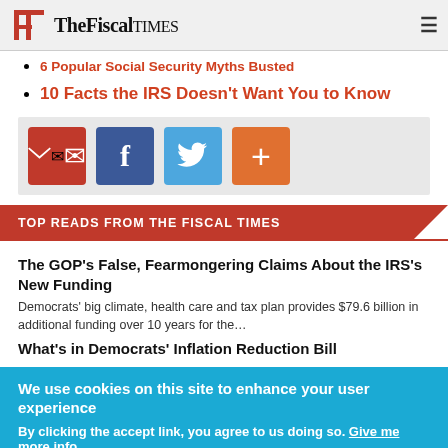The Fiscal Times
6 Popular Social Security Myths Busted
10 Facts the IRS Doesn't Want You to Know
[Figure (infographic): Social sharing buttons: email (red), Facebook (dark blue), Twitter (light blue), plus/more (orange)]
TOP READS FROM THE FISCAL TIMES
The GOP's False, Fearmongering Claims About the IRS's New Funding
Democrats' big climate, health care and tax plan provides $79.6 billion in additional funding over 10 years for the...
What's in Democrats' Inflation Reduction Bill
We use cookies on this site to enhance your user experience
By clicking the accept link, you agree to us doing so. Give me more info
OK, I accept    No, thanks